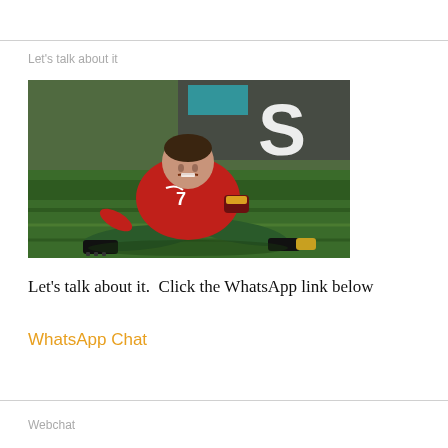Let's talk about it
[Figure (photo): A soccer player wearing a red Portugal jersey with number 7 and green socks, sitting on grass field with a pained expression, leaning back on one arm]
Let's talk about it.  Click the WhatsApp link below
WhatsApp Chat
Webchat